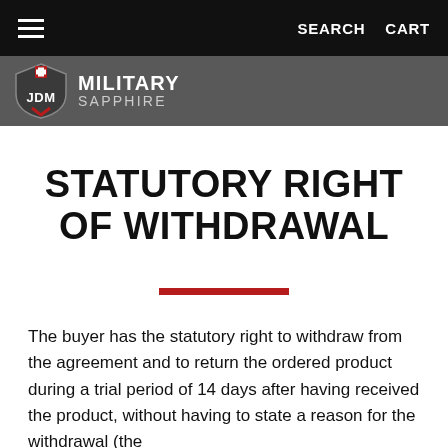≡  SEARCH  CART
[Figure (logo): JDM Military Sapphire logo: shield with red cross and JDM text, beside brand name MILITARY SAPPHIRE]
STATUTORY RIGHT OF WITHDRAWAL
The buyer has the statutory right to withdraw from the agreement and to return the ordered product during a trial period of 14 days after having received the product, without having to state a reason for the withdrawal (the